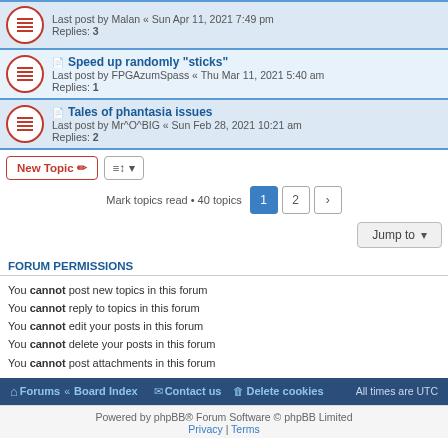Last post by Malan « Sun Apr 11, 2021 7:49 pm Replies: 3
Speed up randomly "sticks" - Last post by FPGAzumSpass « Thu Mar 11, 2021 5:40 am - Replies: 1
Tales of phantasia issues - Last post by Mr^O^BIG « Sun Feb 28, 2021 10:21 am - Replies: 2
Mark topics read • 40 topics
Jump to
FORUM PERMISSIONS
You cannot post new topics in this forum
You cannot reply to topics in this forum
You cannot edit your posts in this forum
You cannot delete your posts in this forum
You cannot post attachments in this forum
Forums • Board Index   Contact us   Delete cookies   All times are UTC
Powered by phpBB® Forum Software © phpBB Limited
Privacy | Terms